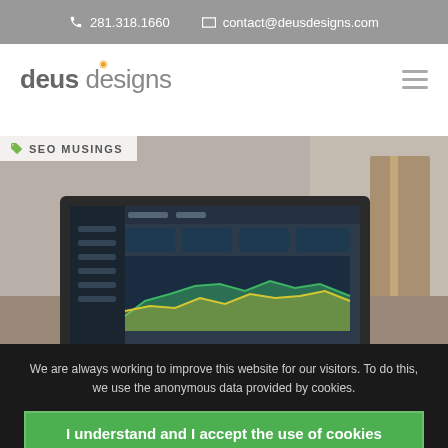📞 281.318.1660  ✉ contact@deusdesigns.com
[Figure (logo): Deus Designs logo — 'deus' in bold dark gray, 'designs' in lighter gray with an orange dot above the 'i', with a hamburger menu icon on the right]
[Figure (screenshot): Laptop showing an analytics dashboard with area charts and data, placed on a desk in a home office setting. Overlaid tag label reads 'SEO MUSINGS']
We are always working to improve this website for our visitors. To do this, we use the anonymous data provided by cookies.
I understand and I accept the use of cookies
I do not accept the use of cookies
Cookie Settings